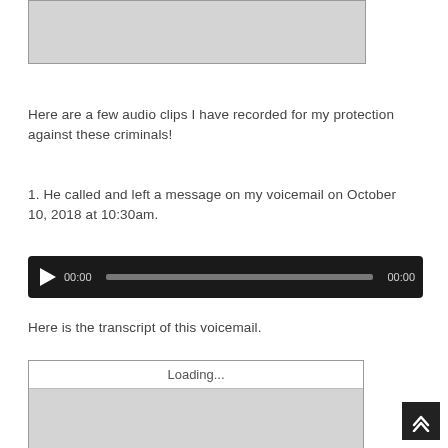[Figure (other): Gray placeholder image box at top of page]
Here are a few audio clips I have recorded for my protection against these criminals!
1. He called and left a message on my voicemail on October 10, 2018 at 10:30am.
[Figure (other): Audio player widget showing play button, time 00:00, progress bar, and end time 00:00, dark background]
Here is the transcript of this voicemail.
[Figure (other): Embedded document widget showing Loading... header and gray content area below]